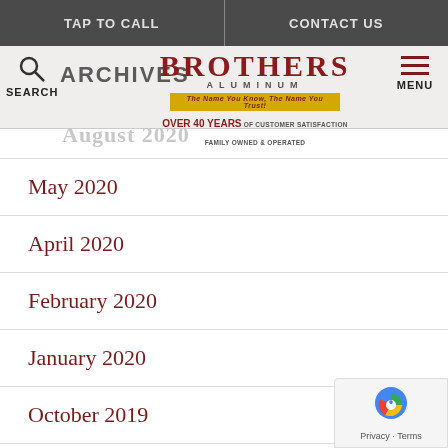TAP TO CALL   CONTACT US
[Figure (logo): Brothers Aluminum logo with tagline 'The Name You Know, The Name You Trust' and 'Over 40 Years of Customer Satisfaction, Family Owned & Operated']
ARCHIVES
August 2020
May 2020
April 2020
February 2020
January 2020
October 2019
September 2019
January 2019